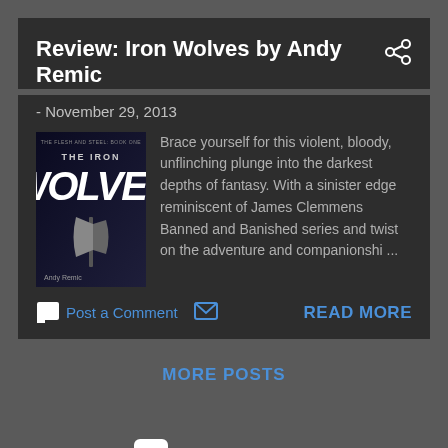Review: Iron Wolves by Andy Remic
- November 29, 2013
[Figure (photo): Book cover of The Iron Wolves by Andy Remic, dark fantasy cover with large stylized text and axe imagery]
Brace yourself for this violent, bloody, unflinching plunge into the darkest depths of fantasy. With a sinister edge reminiscent of James Clemmens Banned and Banished series and twist on the adventure and companionshi ...
Post a Comment
READ MORE
MORE POSTS
Powered by Blogger